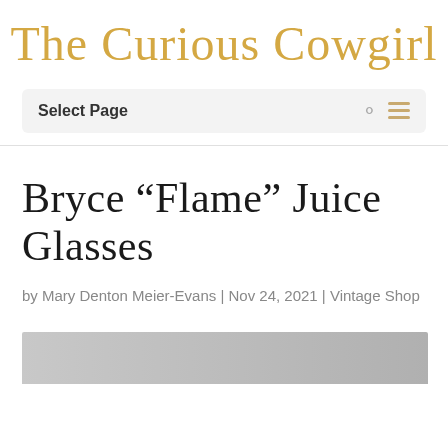The Curious Cowgirl
Select Page
Bryce "Flame" Juice Glasses
by Mary Denton Meier-Evans | Nov 24, 2021 | Vintage Shop
[Figure (photo): Bottom portion of an image, partially visible at the bottom of the page]